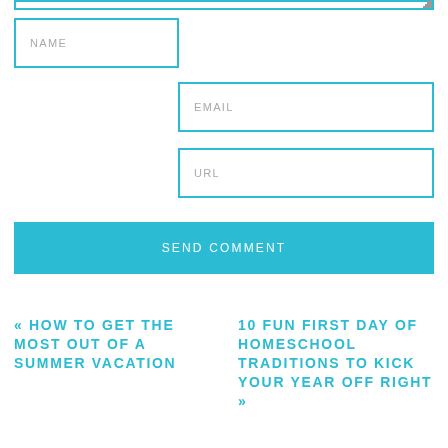[Figure (screenshot): Textarea input field with resize handle at top of page]
NAME
EMAIL
URL
SEND COMMENT
« HOW TO GET THE MOST OUT OF A SUMMER VACATION
10 FUN FIRST DAY OF HOMESCHOOL TRADITIONS TO KICK YOUR YEAR OFF RIGHT »